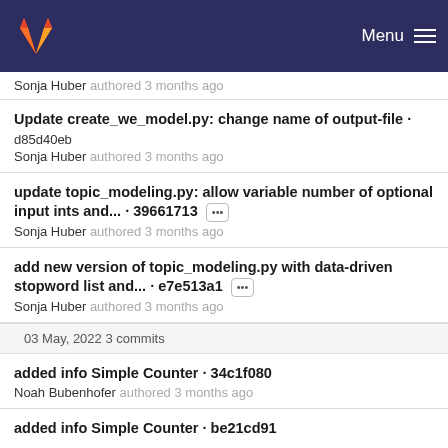GitLab — Menu
Sonja Huber authored 3 months ago
Update create_we_model.py: change name of output-file · d85d40eb
Sonja Huber authored 3 months ago
update topic_modeling.py: allow variable number of optional input ints and... · 39661713 [...]
Sonja Huber authored 3 months ago
add new version of topic_modeling.py with data-driven stopword list and... · e7e513a1 [...]
Sonja Huber authored 3 months ago
03 May, 2022 3 commits
added info Simple Counter · 34c1f080
Noah Bubenhofer authored 3 months ago
added info Simple Counter · be21cd91